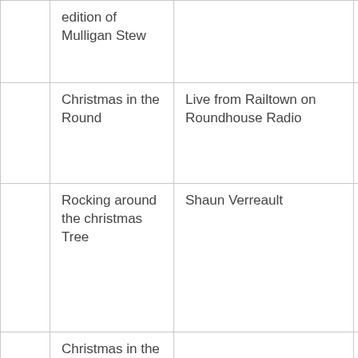|  | edition of Mulligan Stew |  |  |
|  | Christmas in the Round | Live from Railtown on Roundhouse Radio |  |
|  | Rocking around the christmas Tree | Shaun Verreault |  |
|  | Christmas in the Round |  |  |
|  | Mincemeat | Roy Forbes |  |